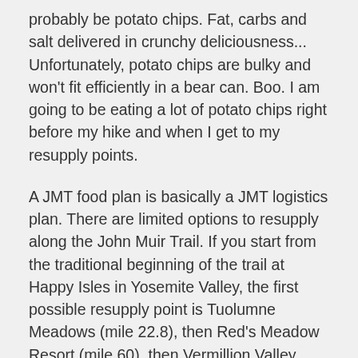probably be potato chips. Fat, carbs and salt delivered in crunchy deliciousness... Unfortunately, potato chips are bulky and won't fit efficiently in a bear can. Boo. I am going to be eating a lot of potato chips right before my hike and when I get to my resupply points.
A JMT food plan is basically a JMT logistics plan. There are limited options to resupply along the John Muir Trail. If you start from the traditional beginning of the trail at Happy Isles in Yosemite Valley, the first possible resupply point is Tuolumne Meadows (mile 22.8), then Red's Meadow Resort (mile 60), then Vermillion Valley Resort (junction at mile 88 with a number of options to get there), and Muir Trail Ranch (mile 110) is the last on-trail resupply point. After that, your options are to (1) book it to Whitney Portal in 10 days or less, because all your food has to fit in a bear canister, (2) hike down to